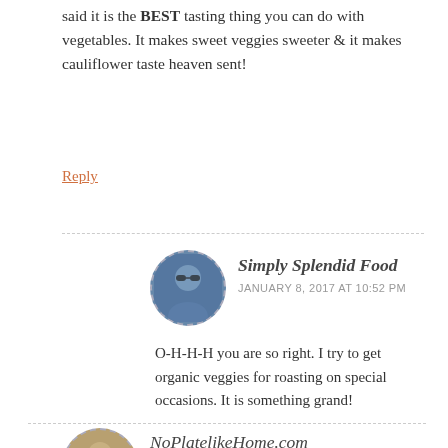said it is the BEST tasting thing you can do with vegetables. It makes sweet veggies sweeter & it makes cauliflower taste heaven sent!
Reply
Simply Splendid Food
JANUARY 8, 2017 AT 10:52 PM
O-H-H-H you are so right. I try to get organic veggies for roasting on special occasions. It is something grand!
NoPlatelikeHome.com